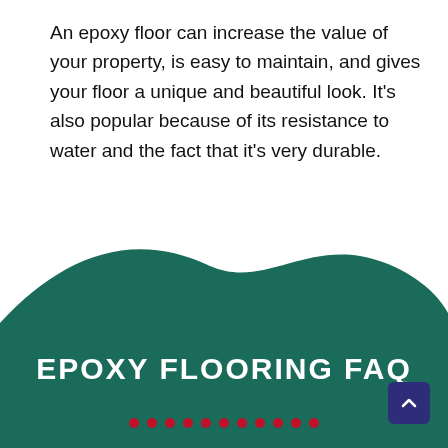An epoxy floor can increase the value of your property, is easy to maintain, and gives your floor a unique and beautiful look. It's also popular because of its resistance to water and the fact that it's very durable.
[Figure (illustration): Dark teal organic blob shape forming the bottom section of the page background]
EPOXY FLOORING FAQ